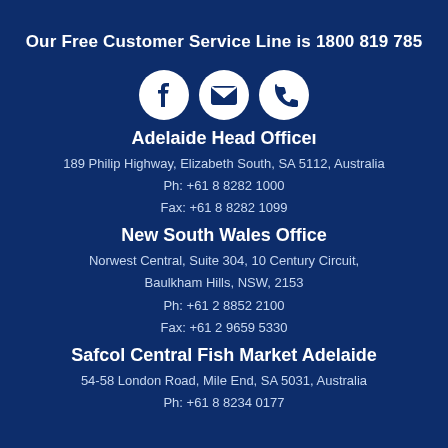Our Free Customer Service Line is 1800 819 785
[Figure (infographic): Three white circular icons on dark blue background: Facebook logo, envelope/email icon, and telephone/phone icon]
Adelaide Head Officeı
189 Philip Highway, Elizabeth South, SA 5112, Australia
Ph: +61 8 8282 1000
Fax: +61 8 8282 1099
New South Wales Office
Norwest Central, Suite 304, 10 Century Circuit,
Baulkham Hills, NSW, 2153
Ph: +61 2 8852 2100
Fax: +61 2 9659 5330
Safcol Central Fish Market Adelaide
54-58 London Road, Mile End, SA 5031, Australia
Ph: +61 8 8234 0177